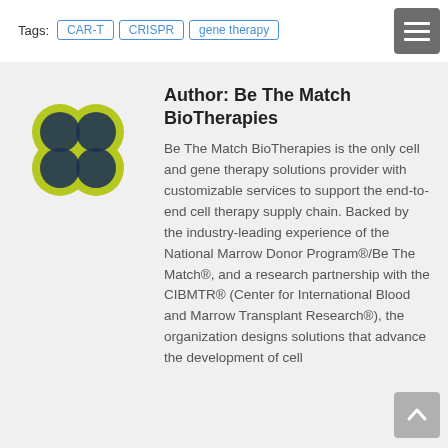Tags: CAR-T | CRISPR | gene therapy
Author: Be The Match BioTherapies
Be The Match BioTherapies is the only cell and gene therapy solutions provider with customizable services to support the end-to-end cell therapy supply chain. Backed by the industry-leading experience of the National Marrow Donor Program®/Be The Match®, and a research partnership with the CIBMTR® (Center for International Blood and Marrow Transplant Research®), the organization designs solutions that advance the development of cell